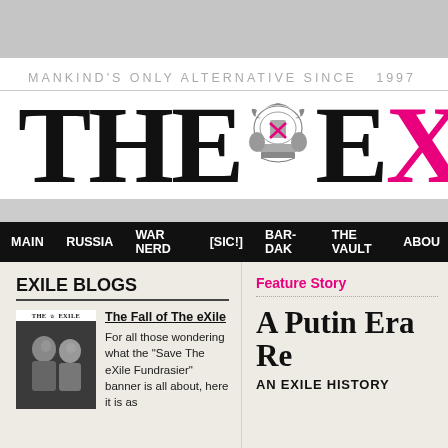MANKIND'S ONLY ALTERNATIVE SINCE  1997
[Figure (logo): The eXile newspaper masthead logo with large black serif THE, decorative crest, and EX in black and pink]
MAIN  RUSSIA  WAR NERD  [SIC!]  BAR-DAK  THE VAULT  ABOUT
EXILE BLOGS
[Figure (photo): Black and white photo of two men, thumbnail for The Fall of The eXile blog post]
The Fall of The eXile
For all those wondering what the "Save The eXile Fundrasier" banner is all about, here it is as
Feature Story
A Putin Era Re
AN EXILE HISTORY